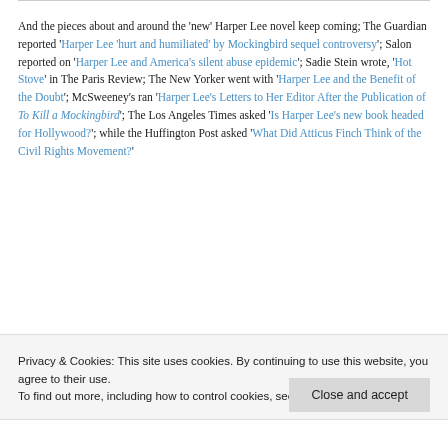And the pieces about and around the 'new' Harper Lee novel keep coming; The Guardian reported 'Harper Lee 'hurt and humiliated' by Mockingbird sequel controversy'; Salon reported on 'Harper Lee and America's silent abuse epidemic'; Sadie Stein wrote, 'Hot Stove' in The Paris Review; The New Yorker went with 'Harper Lee and the Benefit of the Doubt'; McSweeney's ran 'Harper Lee's Letters to Her Editor After the Publication of To Kill a Mockingbird'; The Los Angeles Times asked 'Is Harper Lee's new book headed for Hollywood?'; while the Huffington Post asked 'What Did Atticus Finch Think of the Civil Rights Movement?'
Privacy & Cookies: This site uses cookies. By continuing to use this website, you agree to their use. To find out more, including how to control cookies, see here: Cookie Policy